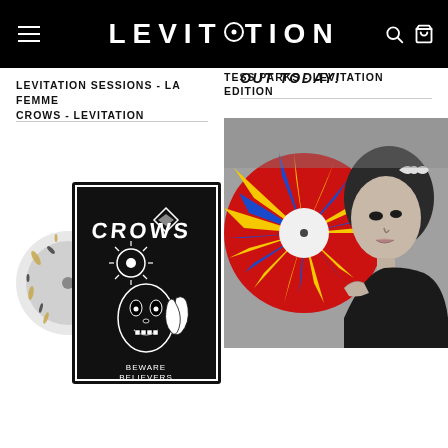LEVITATION
OUT TODAY!
LEVITATION SESSIONS - LA FEMME
[Figure (photo): Album cover for Crows - Beware Believers, black and white illustrated artwork with splattered vinyl record on the left]
TESS PARKS - LEVITATION EDITION
[Figure (photo): Woman holding a colorful red, yellow and blue splattered vinyl record in black and white photograph]
CROWS - LEVITATION